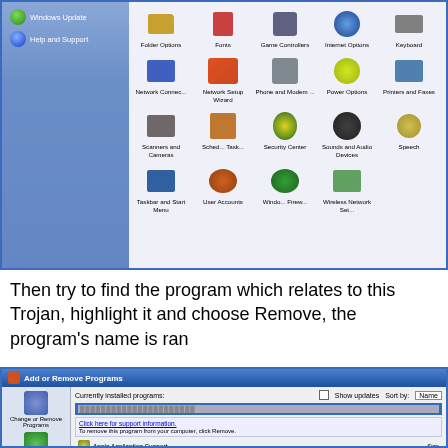[Figure (screenshot): Windows XP Control Panel showing icons including Folder Options, Fonts, Game Controllers, Internet Options, Keyboard, Mouse, Network Connections, Network Setup Wizard, Phone and Modem, Power Options, Printers and Faxes, Regional and Language, Scanners and Cameras, Scheduled Tasks, Security Center, Sounds and Audio Devices, Speech, System, Taskbar and Start Menu, User Accounts, Windows Firewall, Wireless Network Setup. Left panel shows Windows Update and Help and Support.]
Then try to find the program which relates to this Trojan, highlight it and choose Remove, the program's name is ran
[Figure (screenshot): Windows XP Add or Remove Programs dialog showing currently installed programs list with a selected blurred entry, Click here for support information link, removal instructions, and Apple Application Support entry. Sort by Name option visible.]